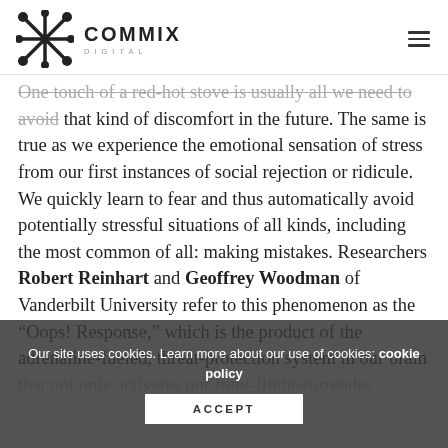COMMIX DIGITAL
One touch of a red-hot stove is usually all we need to avoid that kind of discomfort in the future. The same is true as we experience the emotional sensation of stress from our first instances of social rejection or ridicule. We quickly learn to fear and thus automatically avoid potentially stressful situations of all kinds, including the most common of all: making mistakes. Researchers Robert Reinhart and Geoffrey Woodman of Vanderbilt University refer to this phenomenon as the “Oops! Response,” which is the product of the adrenaline-fueled, threat-protection system in our brain that not only activates our fight-flight-surrender response, but that also enables us to learn from our mistakes. This response is important for our ability to learn from mistakes, but it also
Our site uses cookies. Learn more about our use of cookies: cookie policy
ACCEPT